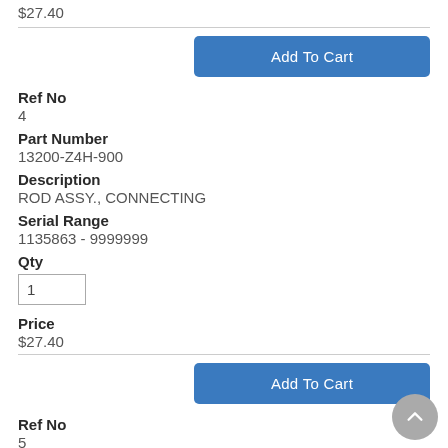$27.40
Add To Cart
Ref No
4
Part Number
13200-Z4H-900
Description
ROD ASSY., CONNECTING
Serial Range
1135863 - 9999999
Qty
1
Price
$27.40
Add To Cart
Ref No
5